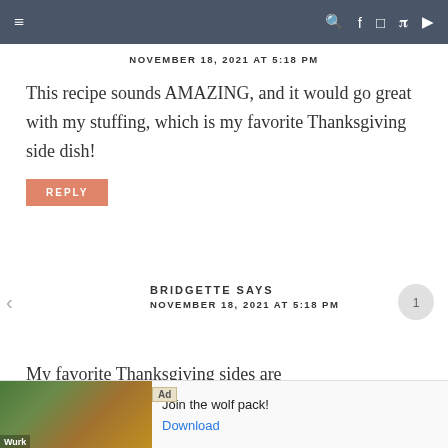≡  🔍 f 📷 p ▶
NOVEMBER 18, 2021 AT 5:18 PM
This recipe sounds AMAZING, and it would go great with my stuffing, which is my favorite Thanksgiving side dish!
REPLY
BRIDGETTE SAYS
NOVEMBER 18, 2021 AT 5:18 PM
My favorite Thanksgiving sides are
[Figure (screenshot): Ad banner for wolf pack app with wolf images and 'Join the wolf pack!' text and Download button]